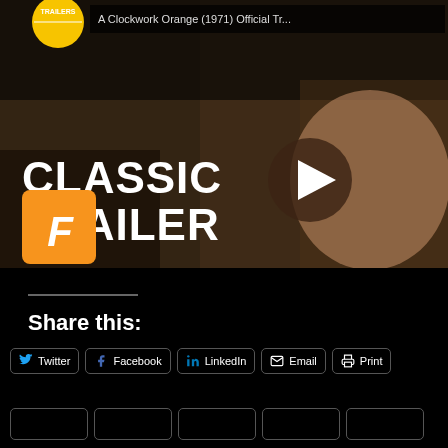[Figure (screenshot): Video thumbnail showing a movie scene from A Clockwork Orange with 'CLASSIC TRAILER' text overlay, a play button in the center, and a Fandango badge in the bottom-left. A yellow TRAILERS badge is visible in the top-left corner.]
Share this:
Twitter
Facebook
LinkedIn
Email
Print